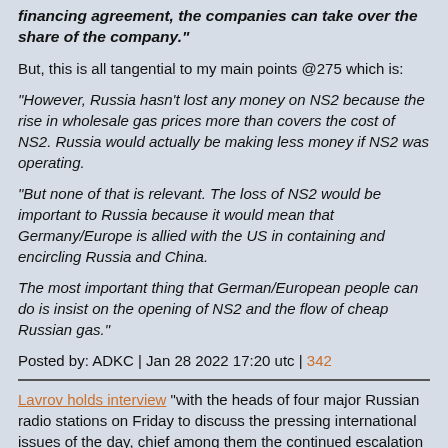financing agreement, the companies can take over the share of the company."
But, this is all tangential to my main points @275 which is:
"However, Russia hasn't lost any money on NS2 because the rise in wholesale gas prices more than covers the cost of NS2. Russia would actually be making less money if NS2 was operating.
"But none of that is relevant. The loss of NS2 would be important to Russia because it would mean that Germany/Europe is allied with the US in containing and encircling Russia and China.
The most important thing that German/European people can do is insist on the opening of NS2 and the flow of cheap Russian gas."
Posted by: ADKC | Jan 28 2022 17:20 utc | 342
Lavrov holds interview "with the heads of four major Russian radio stations on Friday to discuss the pressing international issues of the day, chief among them the continued escalation of tensions between Moscow and the West over Ukraine," reports Sputnik. There isn't any transcript of this posted at the MFA in Russian, so we'll need to rely on this item that was published two hours ago. The two biggest